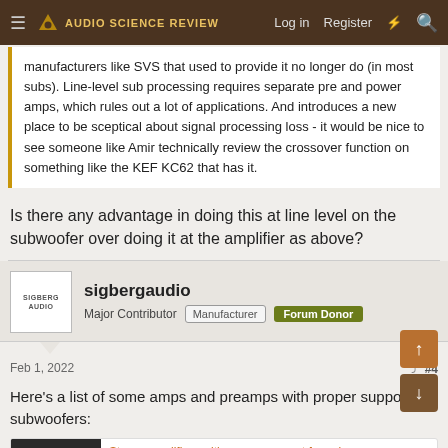Audio Science Review — Log in | Register
manufacturers like SVS that used to provide it no longer do (in most subs). Line-level sub processing requires separate pre and power amps, which rules out a lot of applications. And introduces a new place to be sceptical about signal processing loss - it would be nice to see someone like Amir technically review the crossover function on something like the KEF KC62 that has it.
Is there any advantage in doing this at line level on the subwoofer over doing it at the amplifier as above?
sigbergaudio
Major Contributor  Manufacturer  Forum Donor
Feb 1, 2022  #4
Here's a list of some amps and preamps with proper support for subwoofers:
Stereo amplifiers with proper support for subwoo...
If you have a surround receiver, connecting a subwoofer is easy.